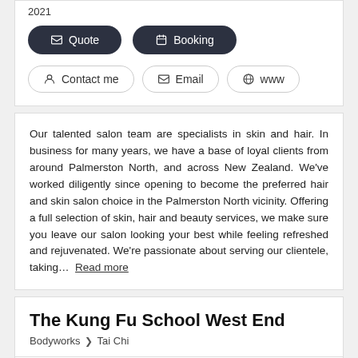2021
✉ Quote  🗓 Booking
👤 Contact me   ✉ Email   🌐 www
Our talented salon team are specialists in skin and hair. In business for many years, we have a base of loyal clients from around Palmerston North, and across New Zealand. We've worked diligently since opening to become the preferred hair and skin salon choice in the Palmerston North vicinity. Offering a full selection of skin, hair and beauty services, we make sure you leave our salon looking your best while feeling refreshed and rejuvenated. We're passionate about serving our clientele, taking… Read more
The Kung Fu School West End
Bodyworks > Tai Chi
216-218 Ferguson St, West End (4410), Manawatu -